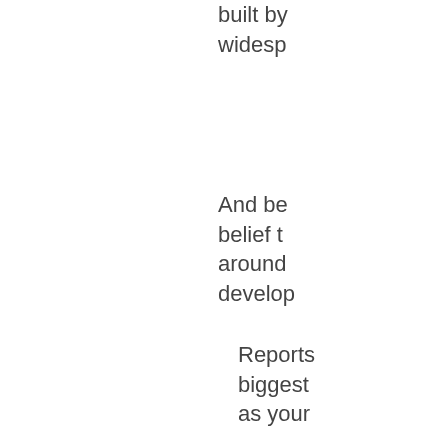built by widespread
And be belief t around develop
Reports biggest as your
T fi h c